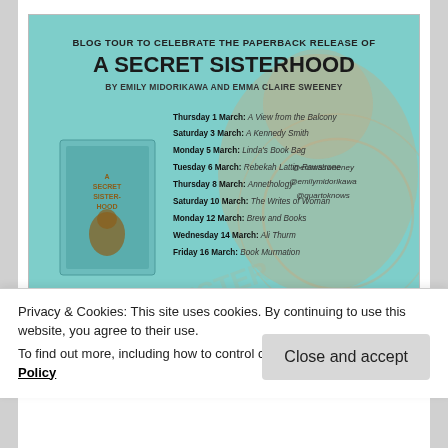[Figure (infographic): Blog tour banner for 'A Secret Sisterhood' paperback release by Emily Midorikawa and Emma Claire Sweeney. Teal/mint background with a silhouette of a woman. Lists blog tour dates: Thursday 1 March: A View from the Balcony, Saturday 3 March: A Kennedy Smith, Monday 5 March: Linda's Book Bag, Tuesday 6 March: Rebekah Lattin-Rawstrone, Thursday 8 March: Annethology, Saturday 10 March: The Writes of Woman, Monday 12 March: Brew and Books, Wednesday 14 March: Ali Thurm, Friday 16 March: Book Murmation. Social handles: @emmasweeney, @emilymidorikawa, @quartoknows. Book cover shown on left. Logos at bottom.]
If you're a regular reader of this blog, there's every
Privacy & Cookies: This site uses cookies. By continuing to use this website, you agree to their use.
To find out more, including how to control cookies, see here: Cookie Policy